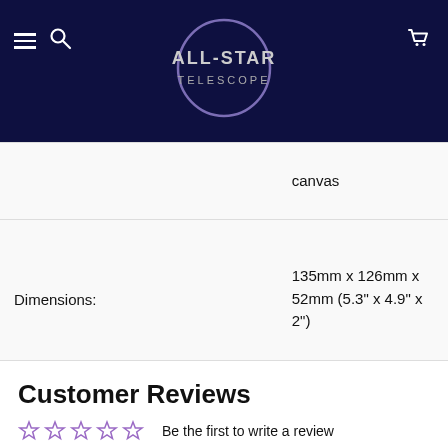[Figure (logo): All-Star Telescope logo with circular ring and text on dark navy background]
|  | canvas |
| Dimensions: | 135mm x 126mm x 52mm (5.3" x 4.9" x 2") |
Customer Reviews
Be the first to write a review
Write a review